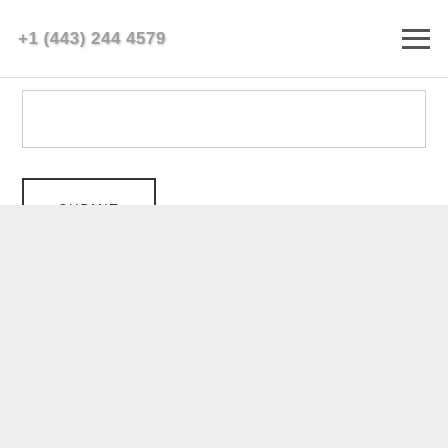+1 (443) 244 4579
[Figure (other): Text input form field (empty rectangle)]
SUBMIT
[Figure (other): Gray footer/background section]